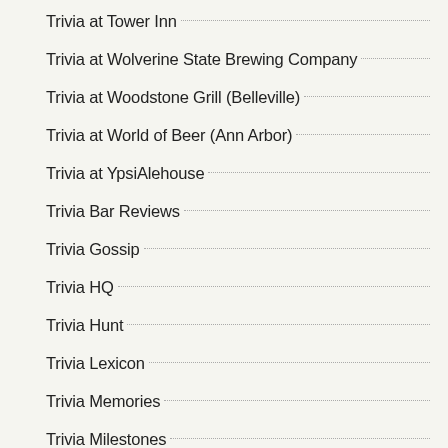Trivia at Tower Inn
Trivia at Wolverine State Brewing Company
Trivia at Woodstone Grill (Belleville)
Trivia at World of Beer (Ann Arbor)
Trivia at YpsiAlehouse
Trivia Bar Reviews
Trivia Gossip
Trivia HQ
Trivia Hunt
Trivia Lexicon
Trivia Memories
Trivia Milestones